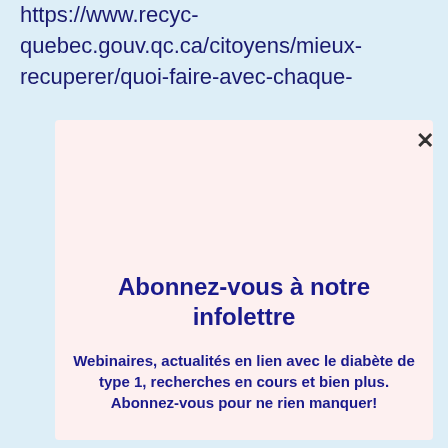https://www.recyc-quebec.gouv.qc.ca/citoyens/mieux-recuperer/quoi-faire-avec-chaque-
[Figure (screenshot): Modal dialog popup with light pink background containing a newsletter subscription prompt. A close button (×) appears in the top right corner.]
Abonnez-vous à notre infolettre
Webinaires, actualités en lien avec le diabète de type 1, recherches en cours et bien plus. Abonnez-vous pour ne rien manquer!